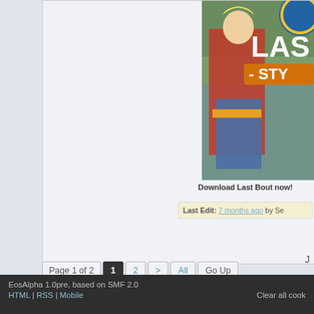[Figure (screenshot): Screenshot of a fighting game character (Last Bout) with text 'LAS' and '- STY' visible, circular logo partially shown]
Download Last Bout now!
Last Edit: 7 months ago by Se
Page 1 of 2  1  2  >  All  Go Up
The Mugen Fighters Guild → M.U.G.E.N Central → FullGame development → I'm Looking for Beta Testers!
J
EosAlpha 1.0pre, based on SMF 2.0
HTML | RSS | Mobile
Clear all cook